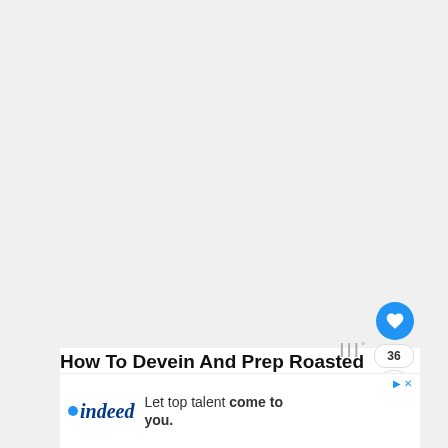[Figure (photo): Large image area - roasted poblano peppers photo placeholder (gray/white area taking up top portion of page)]
How To Devein And Prep Roasted Poblano Peppers
1. Rellenos or Stuffed: If you are g... be stuffing the peppers simply use a
[Figure (photo): What's Next thumbnail - Vegetarian Chiles En...]
[Figure (other): Advertisement banner - indeed.com: Let top talent come to you.]